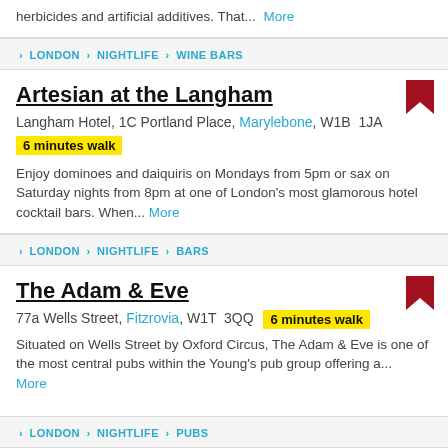herbicides and artificial additives. That... More
> LONDON > NIGHTLIFE > WINE BARS
Artesian at the Langham
Langham Hotel, 1C Portland Place, Marylebone, W1B 1JA
6 minutes walk
Enjoy dominoes and daiquiris on Mondays from 5pm or sax on Saturday nights from 8pm at one of London's most glamorous hotel cocktail bars. When... More
> LONDON > NIGHTLIFE > BARS
The Adam & Eve
77a Wells Street, Fitzrovia, W1T 3QQ  6 minutes walk
Situated on Wells Street by Oxford Circus, The Adam & Eve is one of the most central pubs within the Young's pub group offering a... More
> LONDON > NIGHTLIFE > PUBS